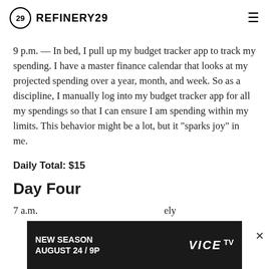REFINERY29
9 p.m. — In bed, I pull up my budget tracker app to track my spending. I have a master finance calendar that looks at my projected spending over a year, month, and week. So as a discipline, I manually log into my budget tracker app for all my spendings so that I can ensure I am spending within my limits. This behavior might be a lot, but it "sparks joy" in me.
Daily Total: $15
Day Four
7 a.m. ...ely
[Figure (screenshot): Advertisement banner: NEW SEASON AUGUST 24 / 9P VICE TV]